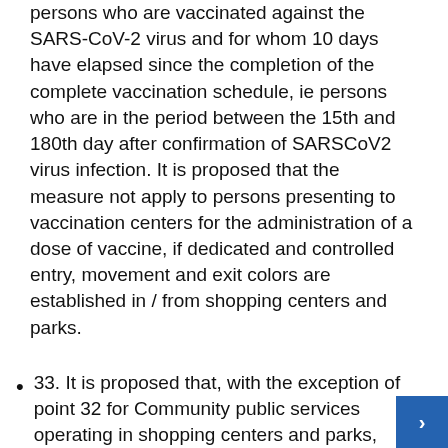persons who are vaccinated against the SARS-CoV-2 virus and for whom 10 days have elapsed since the completion of the complete vaccination schedule, ie persons who are in the period between the 15th and 180th day after confirmation of SARSCoV2 virus infection. It is proposed that the measure not apply to persons presenting to vaccination centers for the administration of a dose of vaccine, if dedicated and controlled entry, movement and exit colors are established in / from shopping centers and parks.
33. It is proposed that, with the exception of point 32 for Community public services operating in shopping centers and parks, access should also be allowed to persons who test negative for an RT-PCR test for SARSCoV-2 virus infection not older 72 hours or the certified